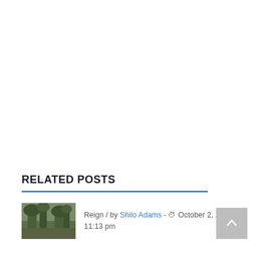RELATED POSTS
Reign / by Shilo Adams - October 2, 2014 11:13 pm
[Figure (photo): Small thumbnail image of outdoor scene with trees/foliage, used as post preview image]